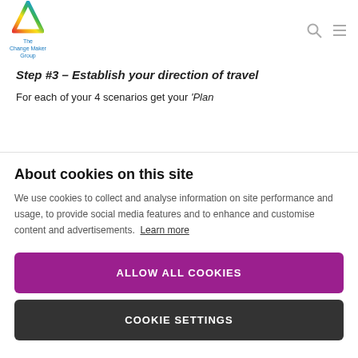[Figure (logo): The Change Maker Group logo — colorful triangle with rainbow gradient and text below]
Step #3 – Establish your direction of travel
For each of your 4 scenarios get your 'Plan
About cookies on this site
We use cookies to collect and analyse information on site performance and usage, to provide social media features and to enhance and customise content and advertisements. Learn more
ALLOW ALL COOKIES
COOKIE SETTINGS